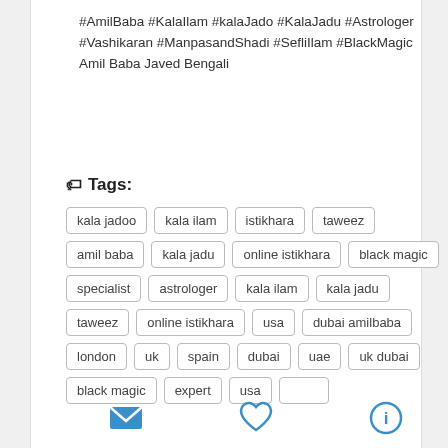#AmilBaba #KalaIlam #kalaJado #KalaJadu #Astrologer #Vashikaran #ManpasandShadi #SefliIlam #BlackMagic Amil Baba Javed Bengali
Tags:
kala jadoo
kala ilam
istikhara
taweez
amil baba
kala jadu
online istikhara
black magic
specialist
astrologer
kala ilam
kala jadu
taweez
online istikhara
usa
dubai amilbaba
london
uk
spain
dubai
uae
uk dubai
black magic
expert
usa
[Figure (illustration): Three icons at bottom: envelope (email), heart (like), and info circle]